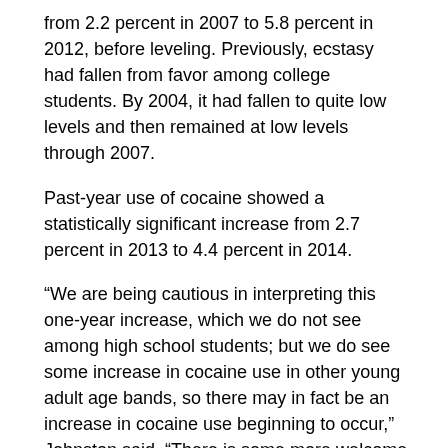from 2.2 percent in 2007 to 5.8 percent in 2012, before leveling. Previously, ecstasy had fallen from favor among college students. By 2004, it had fallen to quite low levels and then remained at low levels through 2007.
Past-year use of cocaine showed a statistically significant increase from 2.7 percent in 2013 to 4.4 percent in 2014.
“We are being cautious in interpreting this one-year increase, which we do not see among high school students; but we do see some increase in cocaine use in other young adult age bands, so there may in fact be an increase in cocaine use beginning to occur,” Johnston said. “There is some more welcome news for parents as they send their children off to college this fall. Perhaps the most important is that five out of every 10 college students have not used any illicit drug in the past year, and more than three quarters have not used